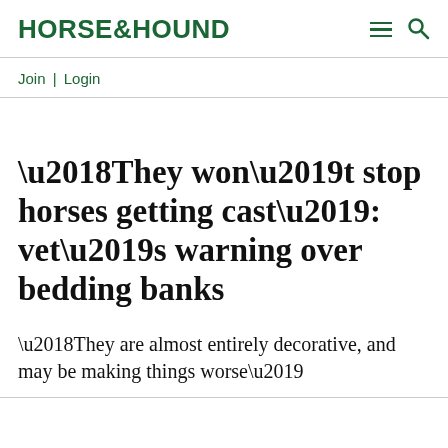HORSE&HOUND
Join | Login
‘They won’t stop horses getting cast’: vet’s warning over bedding banks
‘They are almost entirely decorative, and may be making things worse’